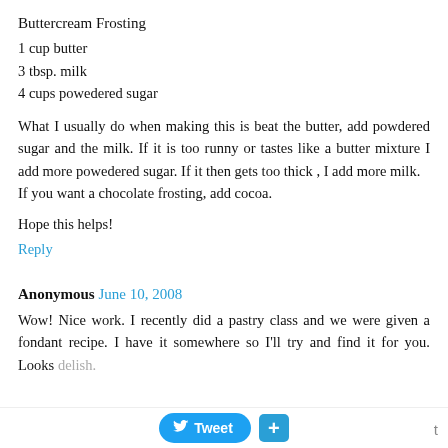Buttercream Frosting
1 cup butter
3 tbsp. milk
4 cups powedered sugar
What I usually do when making this is beat the butter, add powdered sugar and the milk. If it is too runny or tastes like a butter mixture I add more powedered sugar. If it then gets too thick , I add more milk.
If you want a chocolate frosting, add cocoa.
Hope this helps!
Reply
Anonymous June 10, 2008
Wow! Nice work. I recently did a pastry class and we were given a fondant recipe. I have it somewhere so I'll try and find it for you. Looks delish.